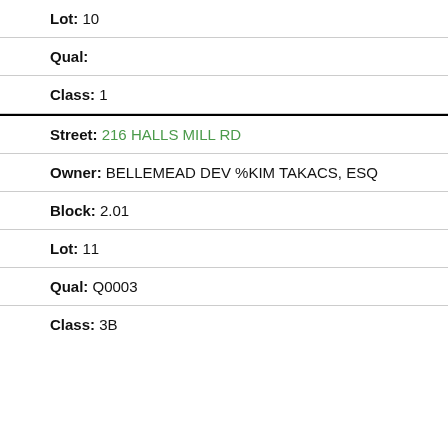Lot: 10
Qual:
Class: 1
Street: 216 HALLS MILL RD
Owner: BELLEMEAD DEV %KIM TAKACS, ESQ
Block: 2.01
Lot: 11
Qual: Q0003
Class: 3B